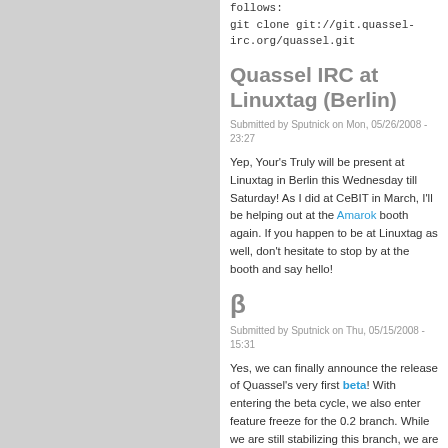git clone git://git.quassel-irc.org/quassel.git
Quassel IRC at Linuxtag (Berlin)
Submitted by Sputnick on Mon, 05/26/2008 - 23:27
Yep, Your's Truly will be present at Linuxtag in Berlin this Wednesday till Saturday! As I did at CeBIT in March, I'll be helping out at the Amarok booth again. If you happen to be at Linuxtag as well, don't hesitate to stop by at the booth and say hello!
β
Submitted by Sputnick on Thu, 05/15/2008 - 15:31
Yes, we can finally announce the release of Quassel's very first beta! With entering the beta cycle, we also enter feature freeze for the 0.2 branch. While we are still stabilizing this branch, we are busy working on tops of